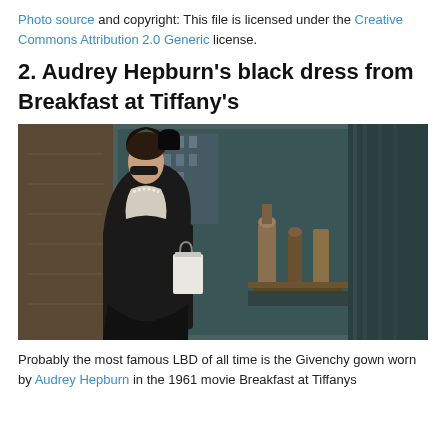Photo source and copyright: This file is licensed under the Creative Commons Attribution 2.0 Generic license.
2. Audrey Hepburn's black dress from Breakfast at Tiffany's
[Figure (photo): Audrey Hepburn as Holly Golightly in Breakfast at Tiffany's, standing outside the Tiffany & Co. store window, wearing a black dress, pearl necklace, long black gloves, and a large black hair accessory, looking at the window display.]
Probably the most famous LBD of all time is the Givenchy gown worn by Audrey Hepburn in the 1961 movie Breakfast at Tiffanys